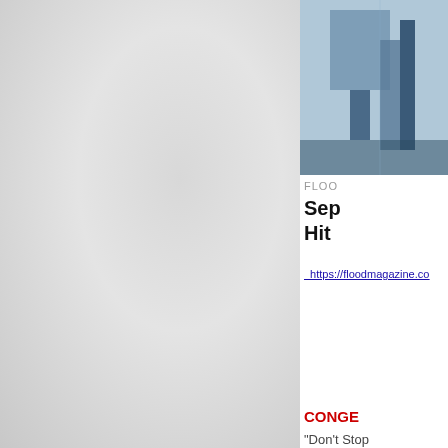[Figure (photo): Industrial or flood-related structure photo, partially visible in top right corner]
FLOO
Sep
Hit
_https://floodmagazine.co
CONGE
"Don't Stop
for th
https://www.loc
[Figure (photo): Partially visible photo at bottom right]